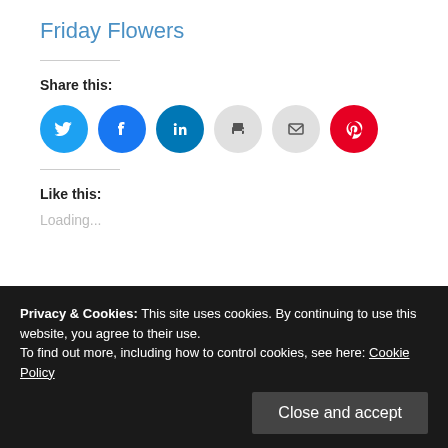Friday Flowers
Share this:
[Figure (infographic): Six social sharing icon circles: Twitter (blue), Facebook (blue), LinkedIn (blue), Print (grey), Email (grey), Pinterest (red)]
Like this:
Loading...
Privacy & Cookies: This site uses cookies. By continuing to use this website, you agree to their use.
To find out more, including how to control cookies, see here: Cookie Policy
Close and accept